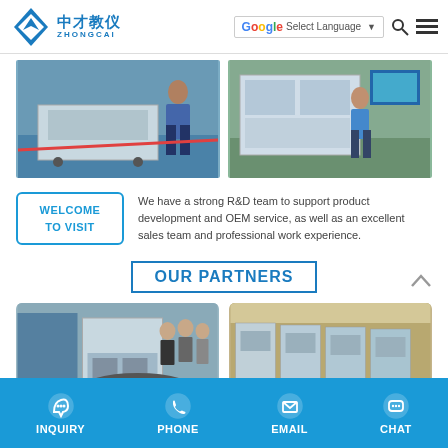中才教仪 ZHONGCAI — Select Language navigation bar
[Figure (photo): Lab training equipment photo showing a person standing next to industrial training workbench on blue floor]
[Figure (photo): Lab training equipment photo showing a person standing in front of a large panel display board in a factory setting]
WELCOME TO VISIT
We have a strong R&D team to support product development and OEM service, as well as an excellent sales team and professional work experience.
OUR PARTNERS
[Figure (photo): Partner facility photo showing people standing around training equipment in a lab]
[Figure (photo): Partner facility photo showing rows of training equipment/panels in a large warehouse]
INQUIRY   PHONE   EMAIL   CHAT